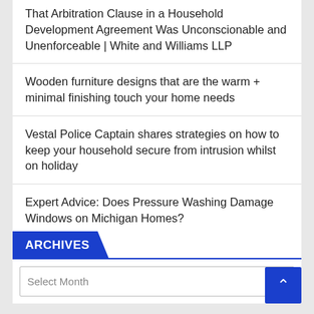That Arbitration Clause in a Household Development Agreement Was Unconscionable and Unenforceable | White and Williams LLP
Wooden furniture designs that are the warm + minimal finishing touch your home needs
Vestal Police Captain shares strategies on how to keep your household secure from intrusion whilst on holiday
Expert Advice: Does Pressure Washing Damage Windows on Michigan Homes?
ARCHIVES
Select Month